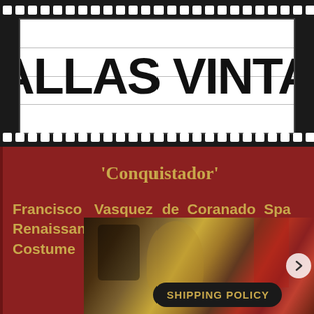[Figure (logo): Dallas Vintage logo in film strip style header with white box and horizontal ruled lines, black dots on top and bottom border]
'Conquistador'
Francisco Vasquez de Coranado Spanish Renaissance Conquistador Child Costume
[Figure (photo): Photo of conquistador costume with golden helmet and red fabric visible in background store setting, with a right arrow navigation button and a SHIPPING POLICY badge overlay]